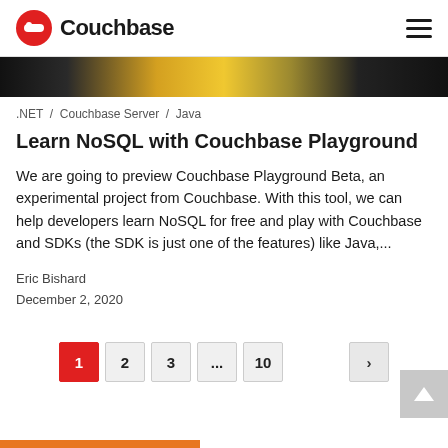Couchbase
[Figure (photo): Partial hero image showing a dark/yellow-toned background with some objects on a desk]
.NET / Couchbase Server / Java
Learn NoSQL with Couchbase Playground
We are going to preview Couchbase Playground Beta, an experimental project from Couchbase. With this tool, we can help developers learn NoSQL for free and play with Couchbase and SDKs (the SDK is just one of the features) like Java,...
Eric Bishard
December 2, 2020
1 2 3 ... 10 >